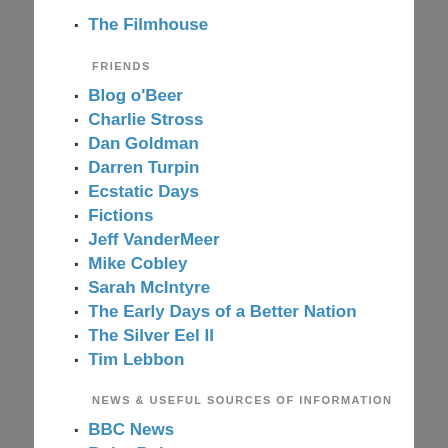The Filmhouse
FRIENDS
Blog o'Beer
Charlie Stross
Dan Goldman
Darren Turpin
Ecstatic Days
Fictions
Jeff VanderMeer
Mike Cobley
Sarah McIntyre
The Early Days of a Better Nation
The Silver Eel II
Tim Lebbon
NEWS & USEFUL SOURCES OF INFORMATION
BBC News
BoingBoing
Guardian Edinburgh
Guerrilla news Network